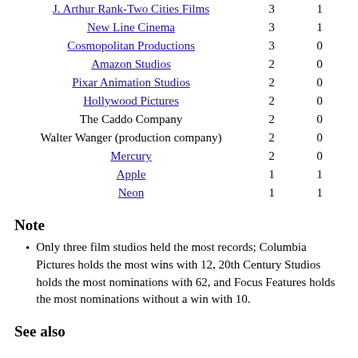| Studio | Wins | Nominations without a win |
| --- | --- | --- |
| J. Arthur Rank-Two Cities Films | 3 | 1 |
| New Line Cinema | 3 | 1 |
| Cosmopolitan Productions | 3 | 0 |
| Amazon Studios | 2 | 0 |
| Pixar Animation Studios | 2 | 0 |
| Hollywood Pictures | 2 | 0 |
| The Caddo Company | 2 | 0 |
| Walter Wanger (production company) | 2 | 0 |
| Mercury | 2 | 0 |
| Apple | 1 | 1 |
| Neon | 1 | 1 |
Note
Only three film studios held the most records; Columbia Pictures holds the most wins with 12, 20th Century Studios holds the most nominations with 62, and Focus Features holds the most nominations without a win with 10.
See also